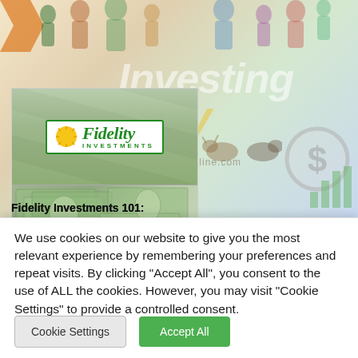[Figure (screenshot): Website screenshot showing Fidelity Investments article thumbnail with 'Buying and Selling' banner, overlaid on InvestingMoneyOnline.com background with silhouettes of people, dollar sign, and bar chart graphics]
Fidelity Investments 101:
We use cookies on our website to give you the most relevant experience by remembering your preferences and repeat visits. By clicking "Accept All", you consent to the use of ALL the cookies. However, you may visit "Cookie Settings" to provide a controlled consent.
Cookie Settings
Accept All